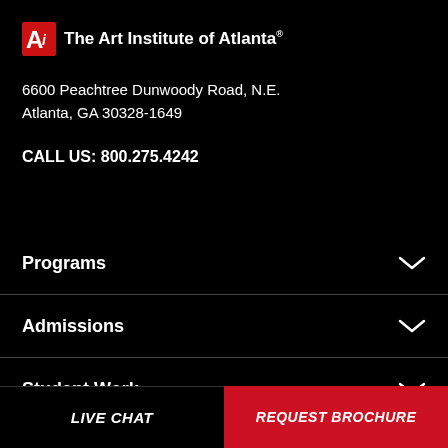[Figure (logo): Ai logo — red stylized 'Ai' followed by text 'The Art Institute of Atlanta' in white on black background]
6600 Peachtree Dunwoody Road, N.E.
Atlanta, GA 30328-1649
CALL US: 800.275.4242
Programs
Admissions
Student Work
Outcomes
LIVE CHAT
REQUEST BROCHURE